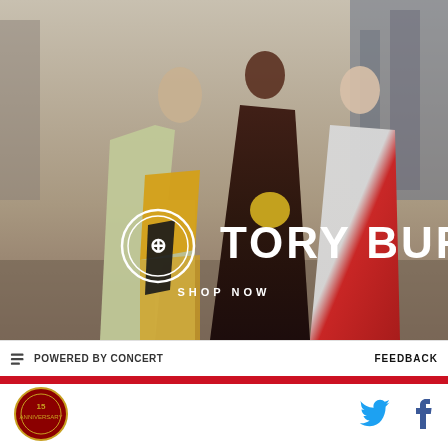[Figure (photo): Tory Burch fashion advertisement showing three models in colorful dresses walking in an urban street setting. Text overlay reads TORY BURCH with logo and SHOP NOW.]
POWERED BY CONCERT
FEEDBACK
[Figure (logo): Circular site logo with red and gold emblem]
[Figure (logo): Twitter bird icon in blue]
[Figure (logo): Facebook f icon in dark blue]